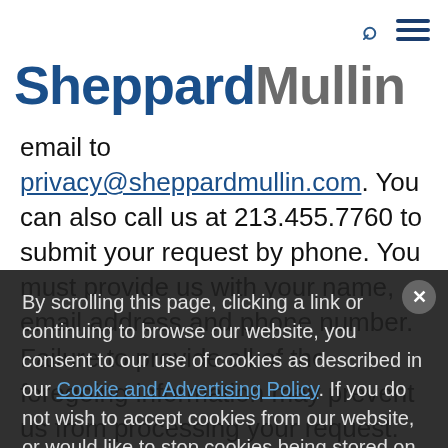SheppardMullin — navigation bar with search and menu icons
SheppardMullin
email to privacy@sheppardmullin.com. You can also call us at 213.455.7760 to submit your request by phone. You must provide us with your name, email address and phone number. Failure to provide all of the foregoing information may prevent us from processing your request. Further, in order to verify your identity, we will match that information to the information we have in our systems. Additionally, you may be subject to a the firm's identity verification procedures in
By scrolling this page, clicking a link or continuing to browse our website, you consent to our use of cookies as described in our Cookie and Advertising Policy. If you do not wish to accept cookies from our website, or would like to stop cookies being stored on your device in the future, you can find out more and adjust your preferences here.